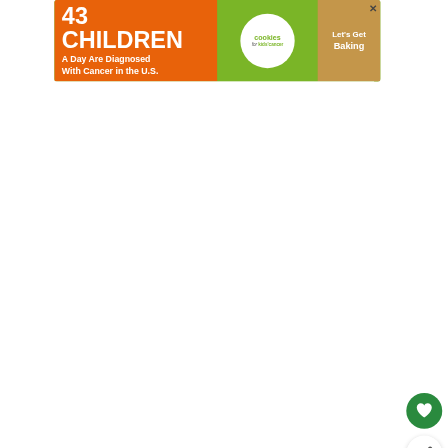[Figure (infographic): Advertisement banner: '43 CHILDREN A Day Are Diagnosed With Cancer in the U.S.' with Cookies for Kids' Cancer logo and 'Let's Get Baking' text on orange-green background]
[Figure (photo): White/blank content area below ad banner (main page content area, mostly white)]
[Figure (infographic): Green circular heart/favorite button icon]
[Figure (infographic): White circular share button with share icon]
WHAT'S NEXT → 2022 Cassette Tape...
Komi Can't Communicate (Netflix)
[Figure (infographic): Dark banner with white bold text: SHE CAN STEM]
(partial second list item, with 'ime)' visible at right)